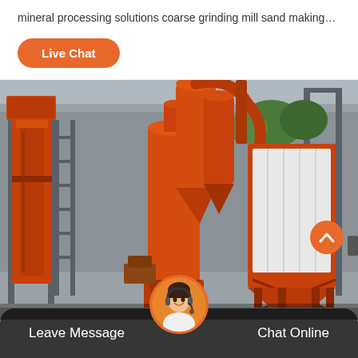mineral processing solutions coarse grinding mill sand making…
Live Chat
[Figure (photo): Industrial grinding mill machinery with orange-painted equipment including cyclone separator, dust collector, and conveyor elevator structures inside a warehouse facility.]
Leave Message
Chat Online